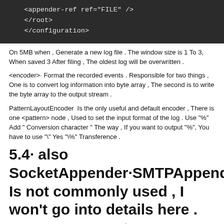[Figure (screenshot): Dark code block showing XML configuration snippet: <appender-ref ref="FILE" />, </root>, </configuration>]
On 5MB when , Generate a new log file . The window size is 1 To 3, When saved 3 After filing , The oldest log will be overwritten .
<encoder>· Format the recorded events . Responsible for two things , One is to convert log information into byte array , The second is to write the byte array to the output stream .
PatternLayoutEncoder  Is the only useful and default encoder , There is one <pattern> node , Used to set the input format of the log . Use "%" Add " Conversion character " The way , If you want to output "%", You have to use "\" Yes "\%" Transference .
5.4· also SocketAppender·SMTPAppender·DBAppender·SyslogAppender·SiftingAppender, Is not commonly used , I won't go into details here .
You can refer to the official documents 「Documentation」, You can also write your own Appender.